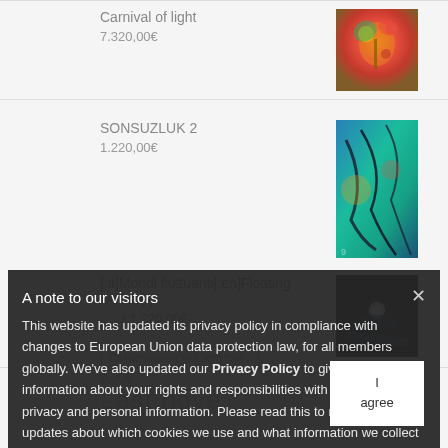Carnival of light
7.320,00€
SONSUZLUK 2
1.220,00€
[:it]Mondi fluttuanti[:en]Floating worlds(:)
1.220,00€
A note to our visitors
This website has updated its privacy policy in compliance with changes to European Union data protection law, for all members globally. We've also updated our Privacy Policy to give you more information about your rights and responsibilities with respect to your privacy and personal information. Please read this to review the updates about which cookies we use and what information we collect on our site. By continuing to use this site, you are agreeing to our updated privacy policy.
Last nove...
Summer Blue 2022